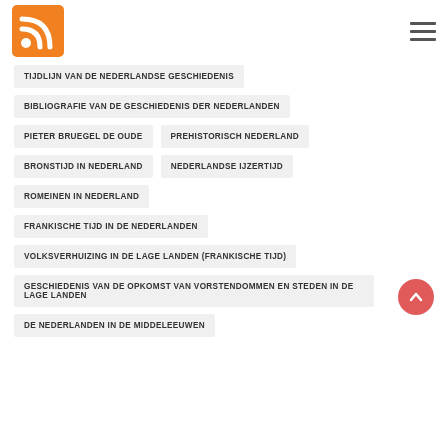[RSS Logo] [Hamburger Menu]
TIJDLIJN VAN DE NEDERLANDSE GESCHIEDENIS
BIBLIOGRAFIE VAN DE GESCHIEDENIS DER NEDERLANDEN
PIETER BRUEGEL DE OUDE
PREHISTORISCH NEDERLAND
BRONSTIJD IN NEDERLAND
NEDERLANDSE IJZERTIJD
ROMEINEN IN NEDERLAND
FRANKISCHE TIJD IN DE NEDERLANDEN
VOLKSVERHUIZING IN DE LAGE LANDEN (FRANKISCHE TIJD)
GESCHIEDENIS VAN DE OPKOMST VAN VORSTENDOMMEN EN STEDEN IN DE LAGE LANDEN
DE NEDERLANDEN IN DE MIDDELEEUWEN